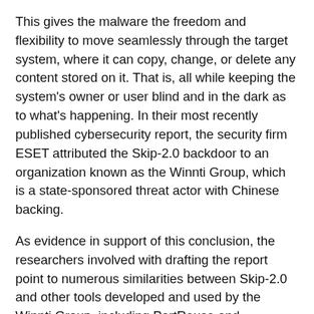This gives the malware the freedom and flexibility to move seamlessly through the target system, where it can copy, change, or delete any content stored on it. That is, all while keeping the system's owner or user blind and in the dark as to what's happening. In their most recently published cybersecurity report, the security firm ESET attributed the Skip-2.0 backdoor to an organization known as the Winnti Group, which is a state-sponsored threat actor with Chinese backing.
As evidence in support of this conclusion, the researchers involved with drafting the report point to numerous similarities between Skip-2.0 and other tools developed and used by the Winnti Group, including PortReuse and ShadowPad.
In addition to that, Skip-2.0 utilizes an encrypted 'VMProtected' launcher, an 'inner-0loader' injector and hooking framework and a custom packer to install its payload, which again, is identical to the structure of other Winnti Group tools.
In basic terms, this is just another malware threat to emerge in